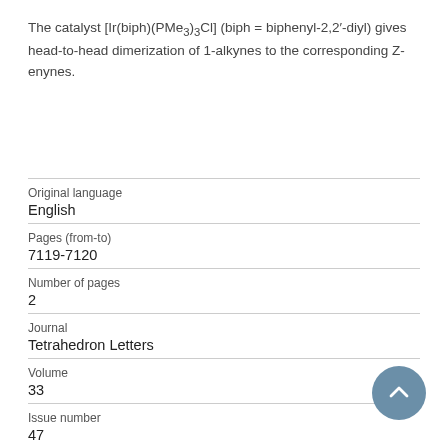The catalyst [Ir(biph)(PMe3)3Cl] (biph = biphenyl-2,2′-diyl) gives head-to-head dimerization of 1-alkynes to the corresponding Z-enynes.
| Original language | English |
| Pages (from-to) | 7119-7120 |
| Number of pages | 2 |
| Journal | Tetrahedron Letters |
| Volume | 33 |
| Issue number | 47 |